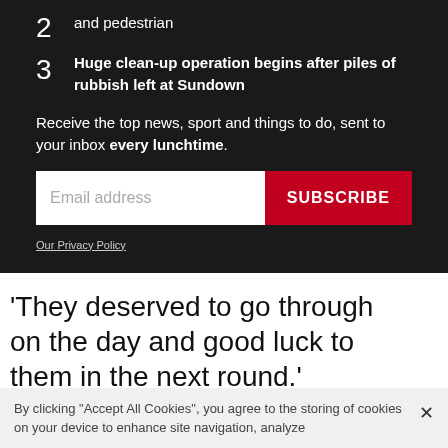2 and pedestrian
3 Huge clean-up operation begins after piles of rubbish left at Sundown
Receive the top news, sport and things to do, sent to your inbox every lunchtime.
Email address [input field] SUBSCRIBE
Our Privacy Policy
'They deserved to go through on the day and good luck to them in the next round.'
By clicking “Accept All Cookies”, you agree to the storing of cookies on your device to enhance site navigation, analyze